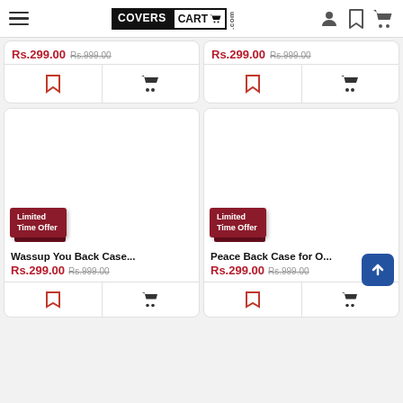CoversCart.com
Rs.299.00  Rs.999.00  (left card top)
Rs.299.00  Rs.999.00  (right card top)
Wassup You Back Case...  Rs.299.00  Rs.999.00  Limited Time Offer
Peace Back Case for O...  Rs.299.00  Rs.999.00  Limited Time Offer